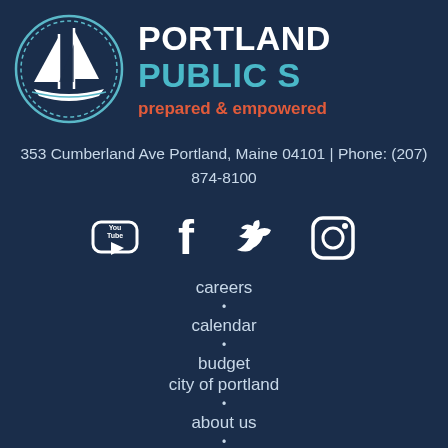[Figure (logo): Portland Public Schools logo — white sailboat inside a circular border on dark navy background]
PORTLAND PUBLIC S
prepared & empowered
353 Cumberland Ave Portland, Maine 04101 | Phone: (207) 874-8100
[Figure (infographic): Social media icons: YouTube, Facebook, Twitter, Instagram]
careers
calendar
budget
city of portland
about us